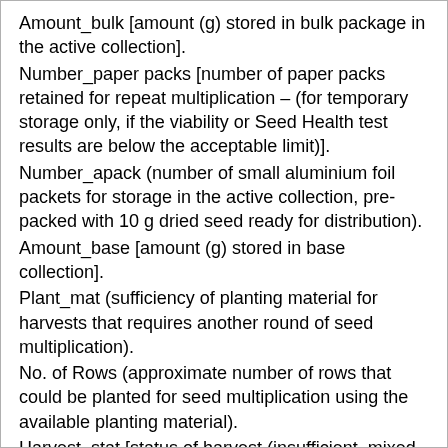Amount_bulk [amount (g) stored in bulk package in the active collection].
Number_paper packs [number of paper packs retained for repeat multiplication – (for temporary storage only, if the viability or Seed Health test results are below the acceptable limit)].
Number_apack (number of small aluminium foil packets for storage in the active collection, pre-packed with 10 g dried seed ready for distribution).
Amount_base [amount (g) stored in base collection].
Plant_mat (sufficiency of planting material for harvests that requires another round of seed multiplication).
No. of Rows (approximate number of rows that could be planted for seed multiplication using the available planting material).
Harvest_stat [status of harvest (insufficient, mixed, diseased)].
Active tray ID (ID of the tray where the sample is stored in the active collection).